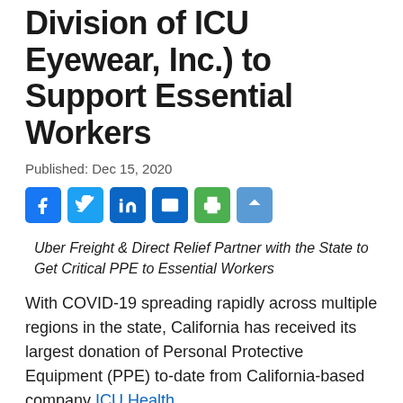Division of ICU Eyewear, Inc.) to Support Essential Workers
Published: Dec 15, 2020
[Figure (other): Social media sharing buttons: Facebook, Twitter, LinkedIn, Email, Print, Share]
Uber Freight & Direct Relief Partner with the State to Get Critical PPE to Essential Workers
With COVID-19 spreading rapidly across multiple regions in the state, California has received its largest donation of Personal Protective Equipment (PPE) to-date from California-based company ICU Health.